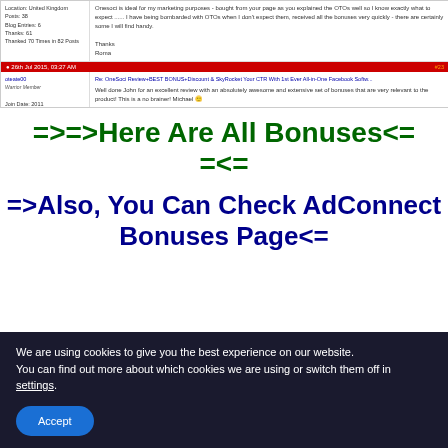[Figure (screenshot): Forum screenshot showing two posts. Top post from a user (United Kingdom, Posts 38, Blog Entries 6, Thanks 61, Thanked 70 Times in 82 Posts) saying the product is ideal for marketing purposes and mentions being bombarded with OTOs, received all bonuses very quickly, signed off as Roma. Bottom section shows a red bar dated 26th Jul 2015, 03:27 AM post #23, from user 'oteate00' (Warrior Member, Join Date 2011, Posts 4, Thanks 0, Thanked 5 Times in 5 Posts) saying 'Re: OneSoci Review+BEST BONUS+Discount & SkyRocket Your CTR With 1st Ever All-in-One Facebook Softw...' and 'Well done John for an excellent review with an absolutely awesome and extensive set of bonuses that are very relevant to the product! This is a no brainer! Michael 🙂']
=>=>Here Are All Bonuses<==<=
=>Also, You Can Check AdConnect Bonuses Page<=
We are using cookies to give you the best experience on our website.
You can find out more about which cookies we are using or switch them off in settings.
Accept